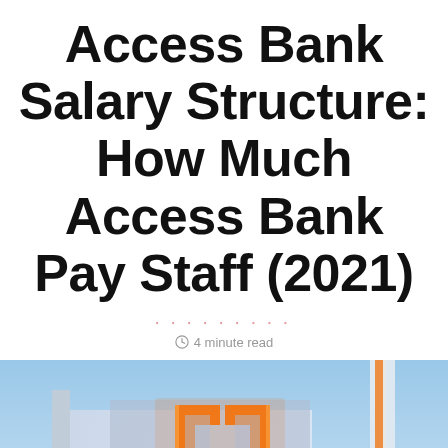Access Bank Salary Structure: How Much Access Bank Pay Staff (2021)
4 minute read
[Figure (photo): Access Bank building exterior with orange logo/signage visible against a blue sky background]